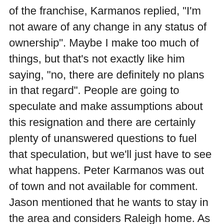of the franchise, Karmanos replied, "I'm not aware of any change in any status of ownership". Maybe I make too much of things, but that's not exactly like him saying, "no, there are definitely no plans in that regard". People are going to speculate and make assumptions about this resignation and there are certainly plenty of unanswered questions to fuel that speculation, but we'll just have to see what happens. Peter Karmanos was out of town and not available for comment. Jason mentioned that he wants to stay in the area and considers Raleigh home. As I said yesterday, best of luck Jason!